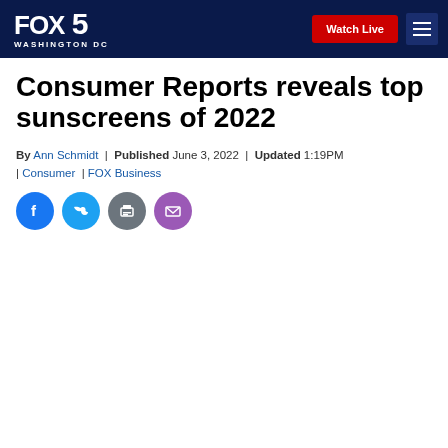FOX 5 WASHINGTON DC | Watch Live
Consumer Reports reveals top sunscreens of 2022
By Ann Schmidt | Published June 3, 2022 | Updated 1:19PM | Consumer | FOX Business
[Figure (other): Social media share icons: Facebook, Twitter, Print, Email]